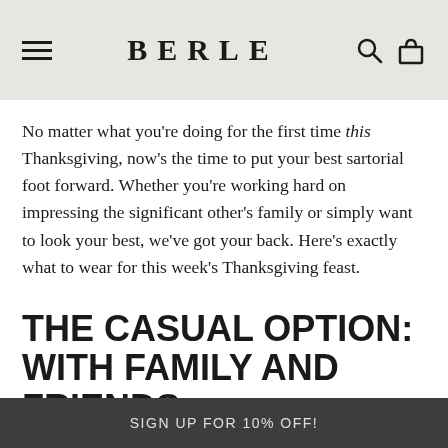BERLE
No matter what you're doing for the first time this Thanksgiving, now's the time to put your best sartorial foot forward. Whether you're working hard on impressing the significant other's family or simply want to look your best, we've got your back. Here's exactly what to wear for this week's Thanksgiving feast.
THE CASUAL OPTION: WITH FAMILY AND FRIENDS
When your poor mother has been spending the previous
SIGN UP FOR 10% OFF!